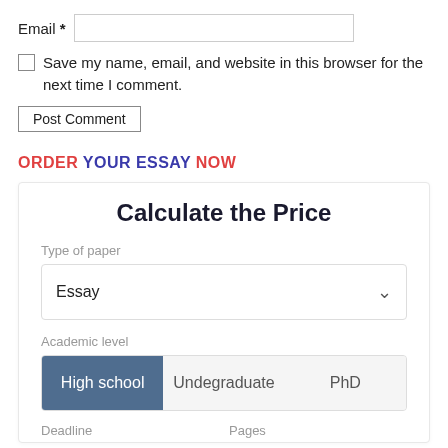Email *
Save my name, email, and website in this browser for the next time I comment.
Post Comment
ORDER YOUR ESSAY NOW
Calculate the Price
Type of paper
Essay
Academic level
High school
Undegraduate
PhD
Deadline
Pages